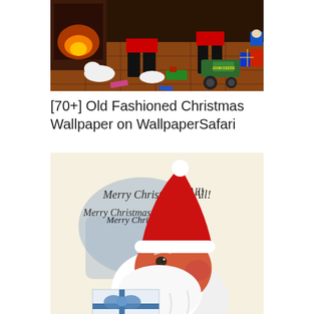[Figure (photo): Old fashioned Christmas scene with Santa Claus, puppies/dogs, toys including a John Deere tractor, and a fireplace with warm glow. Indoor scene on tiled floor.]
[70+] Old Fashioned Christmas Wallpaper on WallpaperSafari
[Figure (illustration): Vintage Christmas illustration showing Santa Claus holding a gift with a blue bow. Santa has rosy cheeks, white beard, and red hat. Cursive text reads 'Merry Christmas to All!' on a cream/beige background with a blue shadow shape.]